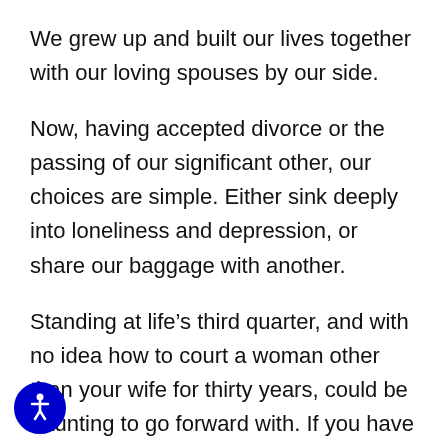We grew up and built our lives together with our loving spouses by our side.
Now, having accepted divorce or the passing of our significant other, our choices are simple. Either sink deeply into loneliness and depression, or share our baggage with another.
Standing at life’s third quarter, and with no idea how to court a woman other than your wife for thirty years, could be daunting to go forward with. If you have procrastinated enough and now believe you are ready to try, you will need a few basic tips.
[Figure (illustration): Blue circular accessibility icon with person/wheelchair symbol in bottom-left corner]